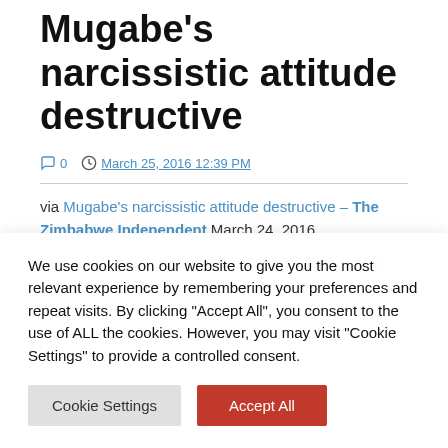Mugabe's narcissistic attitude destructive
0   March 25, 2016 12:39 PM
via Mugabe's narcissistic attitude destructive – The Zimbabwe Independent March 24, 2016
"Econom..." (partial, clipped at bottom)
We use cookies on our website to give you the most relevant experience by remembering your preferences and repeat visits. By clicking "Accept All", you consent to the use of ALL the cookies. However, you may visit "Cookie Settings" to provide a controlled consent.
Cookie Settings  Accept All